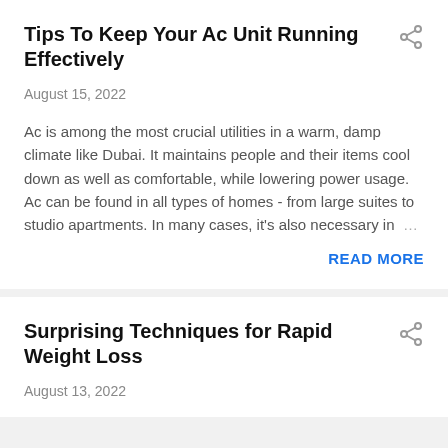Tips To Keep Your Ac Unit Running Effectively
August 15, 2022
Ac is among the most crucial utilities in a warm, damp climate like Dubai. It maintains people and their items cool down as well as comfortable, while lowering power usage. Ac can be found in all types of homes - from large suites to studio apartments. In many cases, it's also necessary in …
READ MORE
Surprising Techniques for Rapid Weight Loss
August 13, 2022